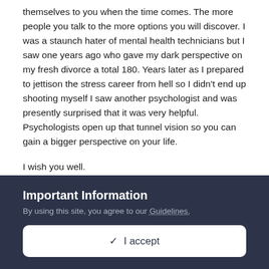themselves to you when the time comes. The more people you talk to the more options you will discover. I was a staunch hater of mental health technicians but I saw one years ago who gave my dark perspective on my fresh divorce a total 180. Years later as I prepared to jettison the stress career from hell so I didn't end up shooting myself I saw another psychologist and was presently surprised that it was very helpful. Psychologists open up that tunnel vision so you can gain a bigger perspective on your life.

I wish you well.
[Figure (other): Like button with heart icon showing count of 1]
Important Information
By using this site, you agree to our Guidelines.
✔ I accept